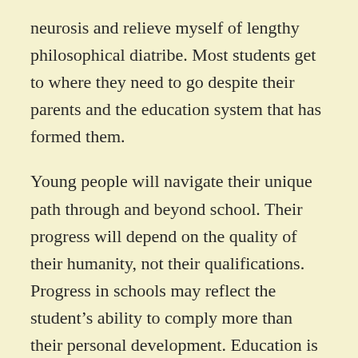neurosis and relieve myself of lengthy philosophical diatribe. Most students get to where they need to go despite their parents and the education system that has formed them.
Young people will navigate their unique path through and beyond school. Their progress will depend on the quality of their humanity, not their qualifications. Progress in schools may reflect the student's ability to comply more than their personal development. Education is like a waltz. Instead of assessing who has danced and how they danced we should be teaching the dancers to appreciate the music. Would Sisyphus be progressing each time he summited the mountain with his boulder? Perhaps mankind's progress is